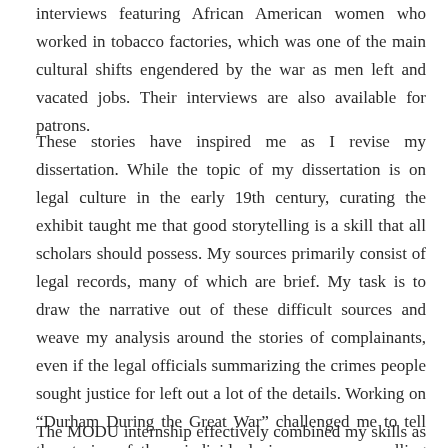interviews featuring African American women who worked in tobacco factories, which was one of the main cultural shifts engendered by the war as men left and vacated jobs. Their interviews are also available for patrons.
These stories have inspired me as I revise my dissertation. While the topic of my dissertation is on legal culture in the early 19th century, curating the exhibit taught me that good storytelling is a skill that all scholars should possess. My sources primarily consist of legal records, many of which are brief. My task is to draw the narrative out of these difficult sources and weave my analysis around the stories of complainants, even if the legal officials summarizing the crimes people sought justice for left out a lot of the details. Working on “Durham During the Great War” challenged me to tell the stories of these individuals in a more compelling way.
The MODU internship effectively combined my skills as a